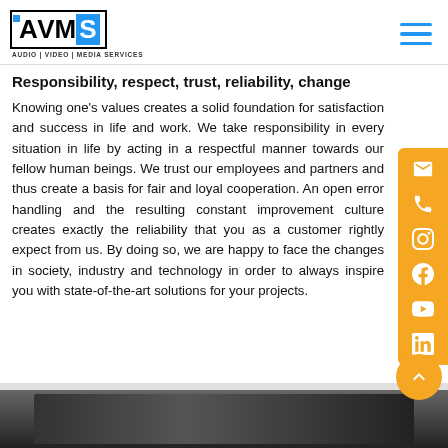AVMS Audio | Video | Media Services
Responsibility, respect, trust, reliability, change
Knowing one’s values creates a solid foundation for satisfaction and success in life and work. We take responsibility in every situation in life by acting in a respectful manner towards our fellow human beings. We trust our employees and partners and thus create a basis for fair and loyal cooperation. An open error handling and the resulting constant improvement culture creates exactly the reliability that you as a customer rightly expect from us. By doing so, we are happy to face the changes in society, industry and technology in order to always inspire you with state-of-the-art solutions for your projects.
[Figure (photo): Group photo of people at the bottom of the page]